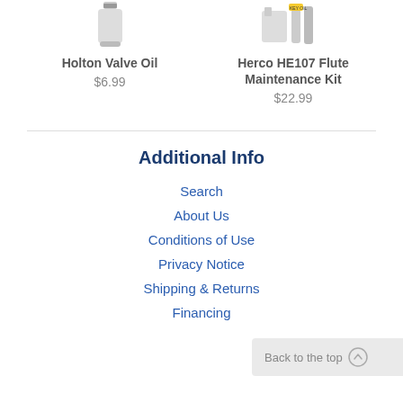Holton Valve Oil
$6.99
Herco HE107 Flute Maintenance Kit
$22.99
Additional Info
Search
About Us
Conditions of Use
Privacy Notice
Shipping & Returns
Financing
Back to the top